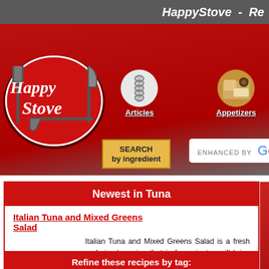HappyStove - Re...
[Figure (logo): HappyStove logo: white cursive text on red circle with fork and knife]
[Figure (illustration): Articles navigation icon with spiral bound book]
[Figure (illustration): Appetizers navigation icon with food photo]
SEARCH by ingredient
ENHANCED BY Google
Newest in Tuna
Italian Tuna and Mixed Greens Salad
Italian Tuna and Mixed Greens Salad is a fresh and simple recipe that in few minutes will bring an explosion of flavors and...
>> read recipe
Refine these recipes by tag:
Eggless (2)
Main Dishes (2)
Tuna > Salads'...
R...